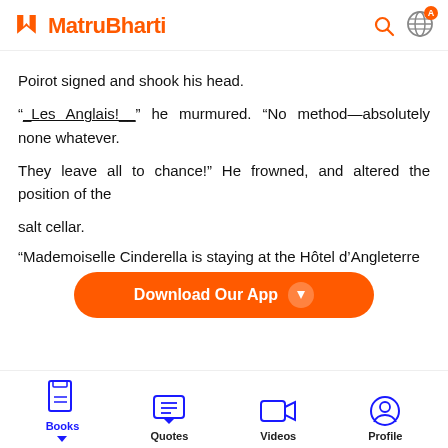MatruBharti
Poirot signed and shook his head.
“_Les Anglais!__” he murmured. “No method—absolutely none whatever.
They leave all to chance!” He frowned, and altered the position of the
salt cellar.
“Mademoiselle Cinderella is staying at the Hôtel d’Angleterre
[Figure (screenshot): Orange Download Our App button with downward arrow icon]
Books | Quotes | Videos | Profile